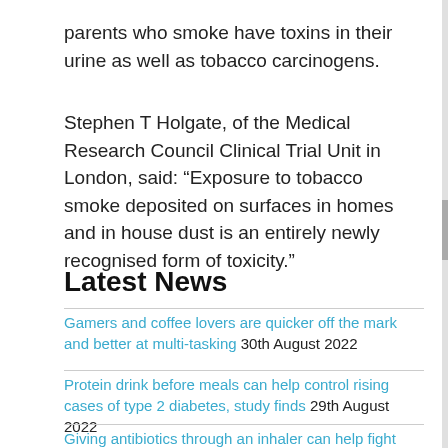parents who smoke have toxins in their urine as well as tobacco carcinogens.
Stephen T Holgate, of the Medical Research Council Clinical Trial Unit in London, said: "Exposure to tobacco smoke deposited on surfaces in homes and in house dust is an entirely newly recognised form of toxicity."
Latest News
Gamers and coffee lovers are quicker off the mark and better at multi-tasking 30th August 2022
Protein drink before meals can help control rising cases of type 2 diabetes, study finds 29th August 2022
Giving antibiotics through an inhaler can help fight bacterial resistance 26th August 2022